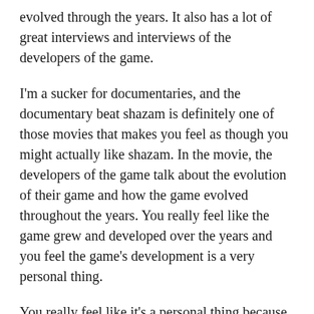evolved through the years. It also has a lot of great interviews and interviews of the developers of the game.
I'm a sucker for documentaries, and the documentary beat shazam is definitely one of those movies that makes you feel as though you might actually like shazam. In the movie, the developers of the game talk about the evolution of their game and how the game evolved throughout the years. You really feel like the game grew and developed over the years and you feel the game's development is a very personal thing.
You really feel like it's a personal thing because you feel like you are in the room with those developers. Although I have to admit, I'm a little bummed that we aren't getting the original game. The game seems like it would be really good, but it's a much bigger game.